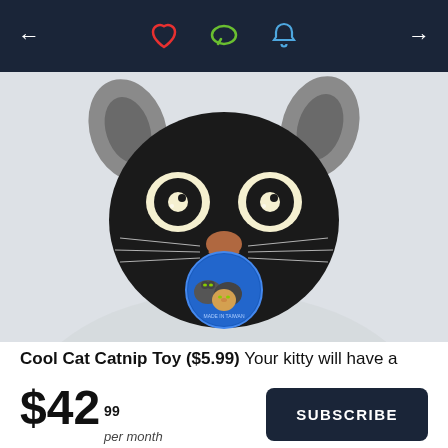← ♡ 💬 🔔 →
[Figure (photo): A black cat stuffed plush toy (catnip toy) viewed from above showing its face with embroidered yellow eyes, pink nose, and whiskers. A round blue product tag hangs from it showing illustrations of three cats.]
Cool Cat Catnip Toy ($5.99) Your kitty will have a
$42.99 per month
SUBSCRIBE